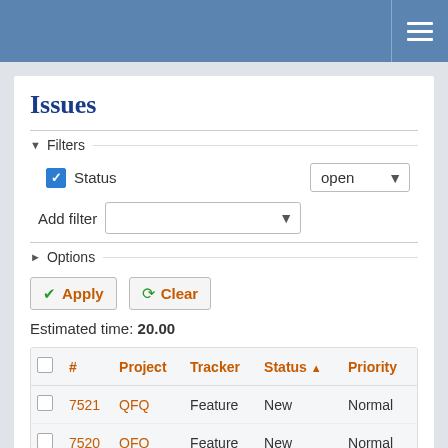Issues tracker page header with hamburger menu
Issues
Filters
Status open
Add filter
Options
Apply  Clear
Estimated time: 20.00
| # | Project | Tracker | Status ↑ | Priority |  |
| --- | --- | --- | --- | --- | --- |
| 7521 | QFQ | Feature | New | Normal | Templa fe.type= |
| 7520 | QFQ | Feature | New | Normal | QR Coc AS _lin |
| 7519 | QFQ | Feature | New | Normal | Select |